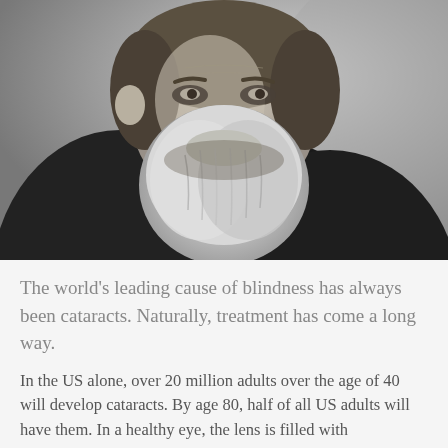[Figure (photo): Black and white portrait photograph of an elderly bearded man, likely Claude Monet, wearing a dark coat with a white collar/cravat visible. The man has a large bushy gray beard and weathered facial features. The background is a gray gradient.]
The world's leading cause of blindness has always been cataracts. Naturally, treatment has come a long way.
In the US alone, over 20 million adults over the age of 40 will develop cataracts. By age 80, half of all US adults will have them. In a healthy eye, the lens is filled with